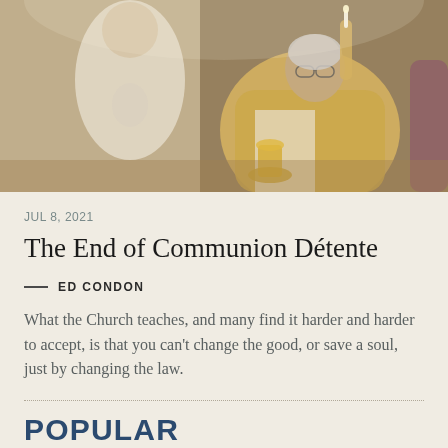[Figure (photo): A Catholic priest in yellow/gold vestments holding up a candle or communion host during Mass, with another priest in white in the background.]
JUL 8, 2021
The End of Communion Détente
— ED CONDON
What the Church teaches, and many find it harder and harder to accept, is that you can't change the good, or save a soul, just by changing the law.
POPULAR